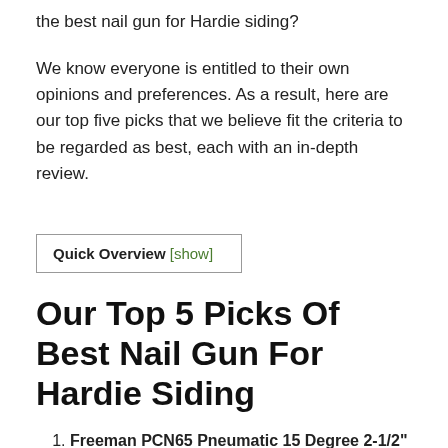the best nail gun for Hardie siding?
We know everyone is entitled to their own opinions and preferences. As a result, here are our top five picks that we believe fit the criteria to be regarded as best, each with an in-depth review.
Quick Overview [show]
Our Top 5 Picks Of Best Nail Gun For Hardie Siding
Freeman PCN65 Pneumatic 15 Degree 2-1/2" Coil Siding Nailer( best nail gun for DIY) – This nail gun will help you